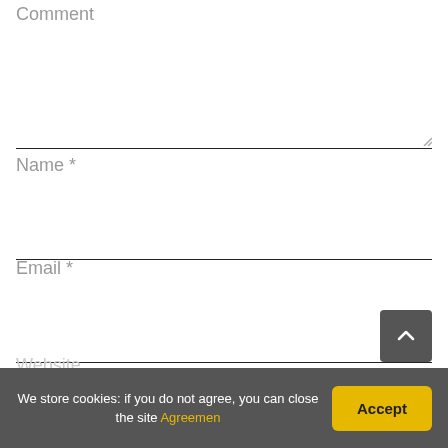Comment
Name *
Email *
Website
We store cookies: if you do not agree, you can close the site Agreemen
Accept